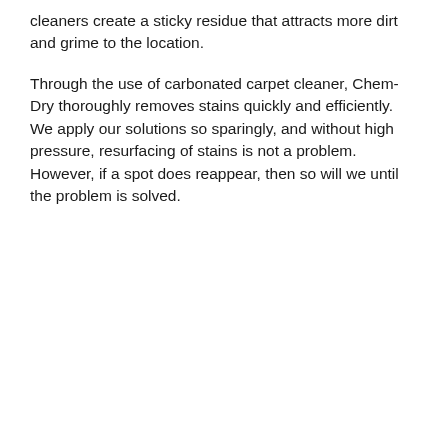cleaners create a sticky residue that attracts more dirt and grime to the location.
Through the use of carbonated carpet cleaner, Chem-Dry thoroughly removes stains quickly and efficiently. We apply our solutions so sparingly, and without high pressure, resurfacing of stains is not a problem. However, if a spot does reappear, then so will we until the problem is solved.